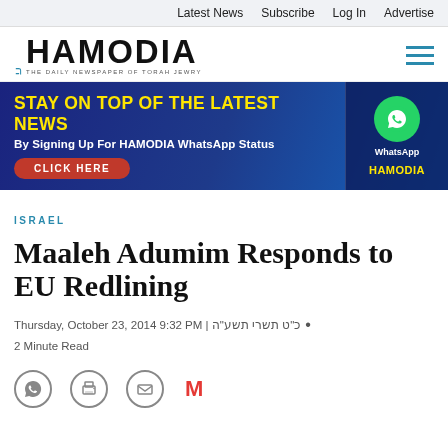Latest News  Subscribe  Log In  Advertise
[Figure (logo): Hamodia newspaper logo with Hebrew text and tagline 'THE DAILY NEWSPAPER OF TORAH JEWRY']
[Figure (infographic): Advertisement banner: STAY ON TOP OF THE LATEST NEWS By Signing Up For HAMODIA WhatsApp Status — CLICK HERE. WhatsApp logo and HAMODIA branding on right side.]
ISRAEL
Maaleh Adumim Responds to EU Redlining
Thursday, October 23, 2014 9:32 PM | כ"ט תשרי תשע"ה • 2 Minute Read
[Figure (other): Social share icons: WhatsApp, print, email, Gmail]